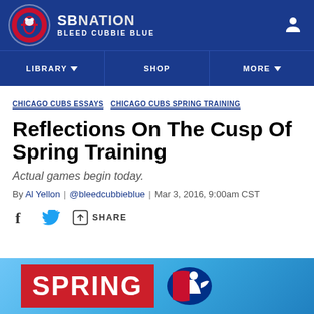SBNation | Bleed Cubbie Blue
LIBRARY  SHOP  MORE
CHICAGO CUBS ESSAYS  CHICAGO CUBS SPRING TRAINING
Reflections On The Cusp Of Spring Training
Actual games begin today.
By Al Yellon | @bleedcubbieblue | Mar 3, 2016, 9:00am CST
SHARE
[Figure (photo): Spring Training promotional image with red sign showing 'SPRING' text and MLB logo on blue background]